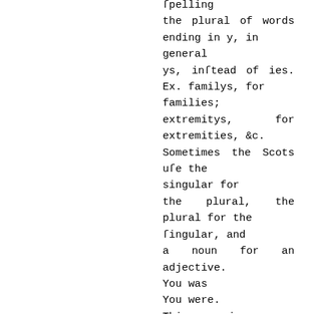ſpelling the plural of words ending in y, in general ys, inſtead of ies. Ex. familys, for families; extremitys, for extremities, &c. Sometimes the Scots uſe the singular for the plural, the plural for the ſingular, and a noun for an adjective. You was You were. This is an impropriety which even Mr. Hume was guilty of. You, is confeſſedly plural; and therefore the verb,